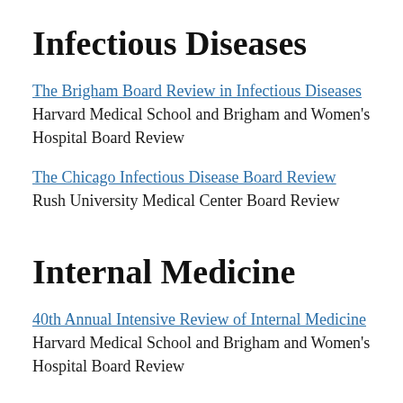Infectious Diseases
The Brigham Board Review in Infectious Diseases Harvard Medical School and Brigham and Women's Hospital Board Review
The Chicago Infectious Disease Board Review Rush University Medical Center Board Review
Internal Medicine
40th Annual Intensive Review of Internal Medicine Harvard Medical School and Brigham and Women's Hospital Board Review